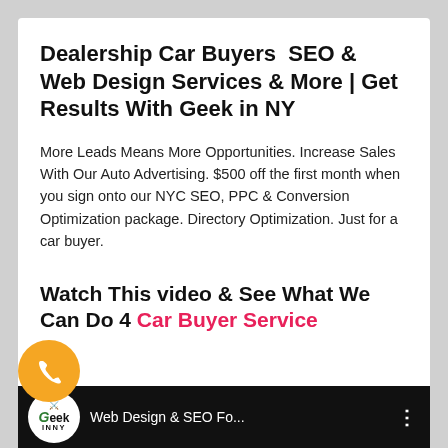Dealership Car Buyers SEO & Web Design Services & More | Get Results With Geek in NY
More Leads Means More Opportunities. Increase Sales With Our Auto Advertising. $500 off the first month when you sign onto our NYC SEO, PPC & Conversion Optimization package. Directory Optimization. Just for a car buyer.
Watch This video & See What We Can Do 4 Car Buyer Service
[Figure (other): Bottom media bar with Geek INNY logo circle, text 'Web Design & SEO Fo...' and three-dot menu on black background. An orange phone call bubble appears on the left.]